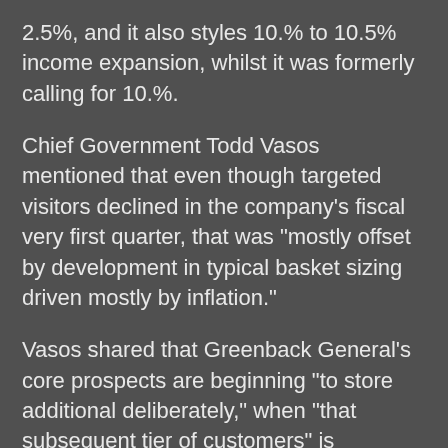2.5%, and it also styles 10.% to 10.5% income expansion, whilst it was formerly calling for 10.%.
Chief Government Todd Vasos mentioned that even though targeted visitors declined in the company's fiscal very first quarter, that was “mostly offset by development in typical basket sizing driven mostly by inflation.”
Vasos shared that Greenback General’s core prospects are beginning “to store additional deliberately,” when “that subsequent tier of customers” is procuring a bit far more with the company.
“When you glance at the COVID purchaser, I would get in touch with it, the one particular that we captivated and now have retained considering the fact that COVID, it is nonetheless running at or